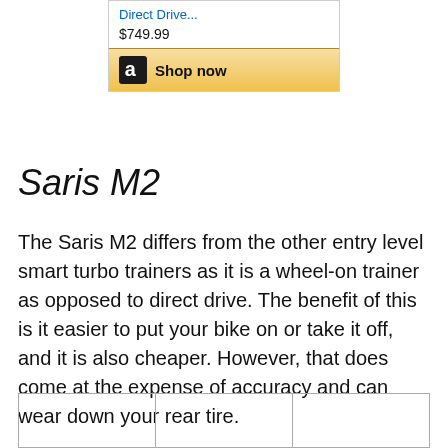[Figure (other): Amazon product listing widget showing a link 'Direct Drive...' priced at $749.99 with a 'Shop now' button styled with Amazon branding]
Saris M2
The Saris M2 differs from the other entry level smart turbo trainers as it is a wheel-on trainer as opposed to direct drive. The benefit of this is it easier to put your bike on or take it off, and it is also cheaper. However, that does come at the expense of accuracy and can wear down your rear tire.
|  |  |  |
| --- | --- | --- |
|  |  |  |